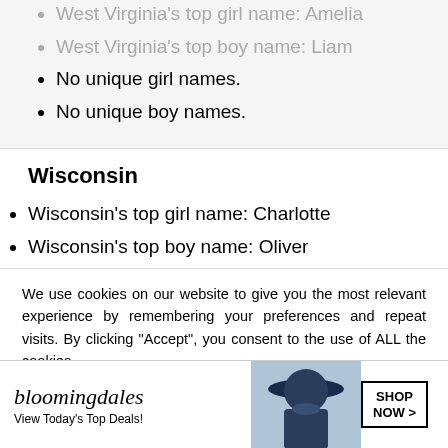West Virginia's top girl name: Amelia
West Virginia's top boy name: Liam
No unique girl names.
No unique boy names.
Wisconsin
Wisconsin's top girl name: Charlotte
Wisconsin's top boy name: Oliver
We use cookies on our website to give you the most relevant experience by remembering your preferences and repeat visits. By clicking “Accept”, you consent to the use of ALL the cookies.
Do not sell my personal information.
[Figure (illustration): Bloomingdale's advertisement banner with logo, model in hat, and Shop Now button]